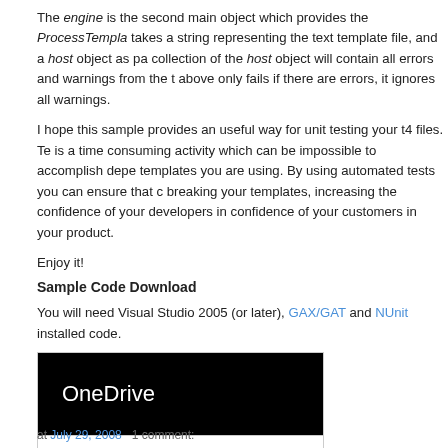The engine is the second main object which provides the ProcessTemplate takes a string representing the text template file, and a host object as pa collection of the host object will contain all errors and warnings from the t above only fails if there are errors, it ignores all warnings.
I hope this sample provides an useful way for unit testing your t4 files. Te is a time consuming activity which can be impossible to accomplish depe templates you are using. By using automated tests you can ensure that c breaking your templates, increasing the confidence of your developers in confidence of your customers in your product.
Enjoy it!
Sample Code Download
You will need Visual Studio 2005 (or later), GAX/GAT and NUnit installed code.
[Figure (screenshot): OneDrive logo/link box with black background showing white text 'OneDrive']
at July 29, 2008   1 comment: